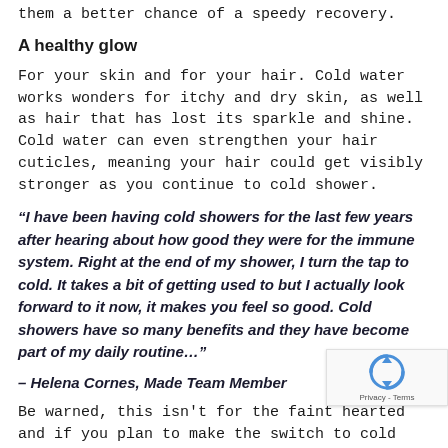them a better chance of a speedy recovery.
A healthy glow
For your skin and for your hair. Cold water works wonders for itchy and dry skin, as well as hair that has lost its sparkle and shine. Cold water can even strengthen your hair cuticles, meaning your hair could get visibly stronger as you continue to cold shower.
“I have been having cold showers for the last few years after hearing about how good they were for the immune system. Right at the end of my shower, I turn the tap to cold. It takes a bit of getting used to but I actually look forward to it now, it makes you feel so good. Cold showers have so many benefits and they have become part of my daily routine…”
– Helena Cornes, Made Team Member
Be warned, this isn’t for the faint hearted and if you plan to make the switch to cold showers,